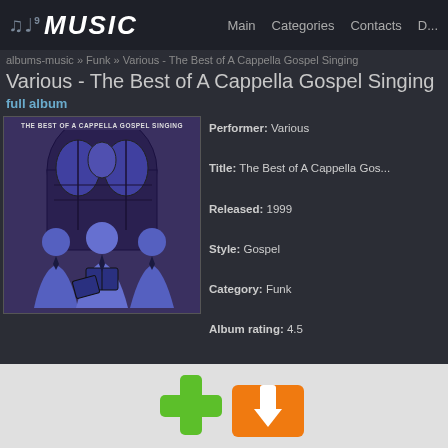MUSIC  Main  Categories  Contacts  D...
albums-music » Funk » Various - The Best of A Cappella Gospel Singing
Various - The Best of A Cappella Gospel Singing
full album
[Figure (photo): Album cover for The Best of A Cappella Gospel Singing showing silhouettes of gospel singers in blue/purple tones with stained glass window background]
Performer: Various
Title: The Best of A Cappella Gospel Singing
Released: 1999
Style: Gospel
Category: Funk
Album rating: 4.5
Votes: 534
Size MP3: 1852 mb
Size FLAC: 1967 mb
Size WMA: 1366 mb
Other formats: DTS VQF MP2 AI...
[Figure (illustration): Download button icon in green and orange colors at the bottom of the page]